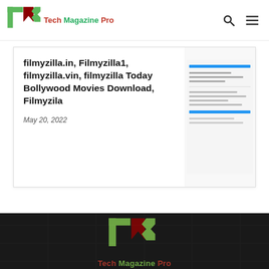Tech Magazine Pro
filmyzilla.in, Filmyzilla1, filmyzilla.vin, filmyzilla Today Bollywood Movies Download, Filmyzila
May 20, 2022
[Figure (screenshot): Thumbnail screenshot of article content with blue horizontal lines on white background]
[Figure (logo): Tech Magazine Pro logo — TMP stylized letters in green and dark red with tagline]
© Copyright 2021 Techmagazinepro.com. All Rights Reserved.